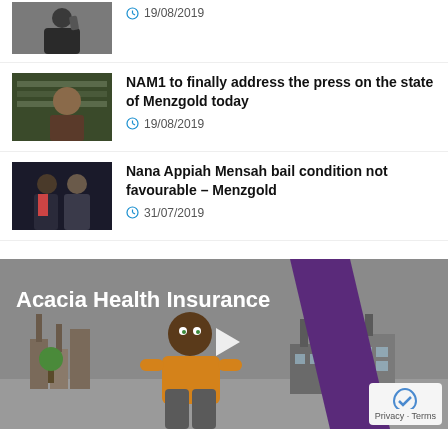[Figure (photo): Thumbnail of a man on the phone]
19/08/2019
[Figure (photo): Thumbnail of a man speaking]
NAM1 to finally address the press on the state of Menzgold today
19/08/2019
[Figure (photo): Thumbnail of Nana Appiah Mensah]
Nana Appiah Mensah bail condition not favourable – Menzgold
31/07/2019
[Figure (other): Acacia Health Insurance animated video ad showing a cartoon man in front of factory buildings with a purple diagonal stripe and play button overlay]